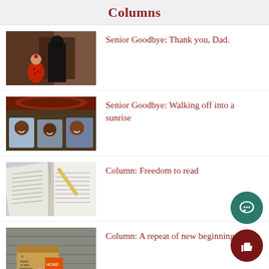Columns
Senior Goodbye: Thank you, Dad.
Senior Goodbye: Walking off into a sunrise
Column: Freedom to read
Column: A repeat of new beginnings